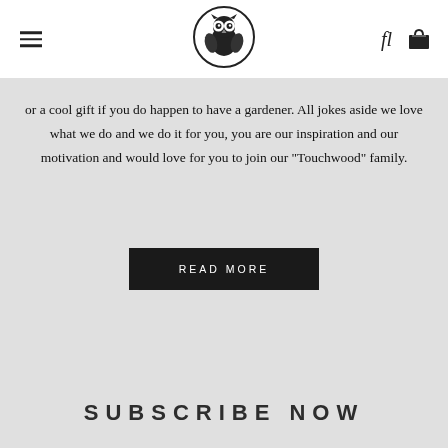[Figure (logo): Owl logo inside a circle, Touchwood brand logo]
or a cool gift if you do happen to have a gardener. All jokes aside we love what we do and we do it for you, you are our inspiration and our motivation and would love for you to join our "Touchwood" family.
READ MORE
SUBSCRIBE NOW